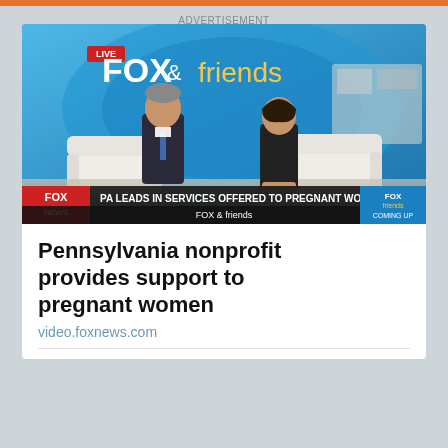ADVERTISEMENT
[Figure (screenshot): Fox & Friends TV show screenshot showing two people seated and talking in a studio. Lower third banner reads: PA LEADS IN SERVICES OFFERED TO PREGNANT WOMEN. Fox News logo visible. Fox & friends logo shown at top.]
Pennsylvania nonprofit provides support to pregnant women
video.foxnews.com